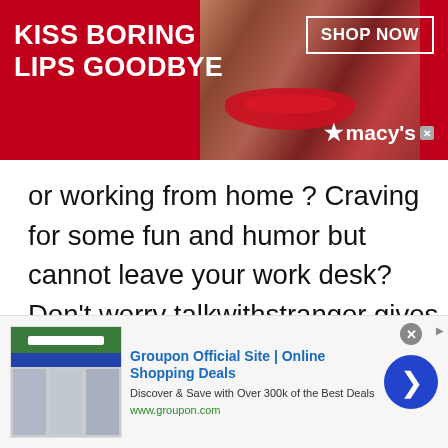[Figure (screenshot): Macy's advertisement banner with red background, woman's face with red lips, 'KISS BORING LIPS GOODBYE' text, 'SHOP NOW' button, and Macy's star logo]
or working from home ? Craving for some fun and humor but cannot leave your work desk? Don't worry talkwithstranger gives you a leisure time platform for free to chat with people of Congo without having to leave your place but wanna get
[Figure (screenshot): Groupon advertisement at bottom: 'Groupon Official Site | Online Shopping Deals', 'Discover & Save with Over 300k of the Best Deals', 'www.groupon.com', with thumbnail images and blue arrow button]